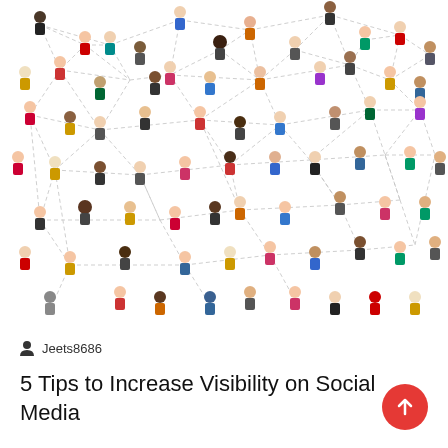[Figure (illustration): A network illustration showing many diverse cartoon avatar people connected by dashed lines forming a social network graph on a white background.]
Jeets8686
5 Tips to Increase Visibility on Social Media